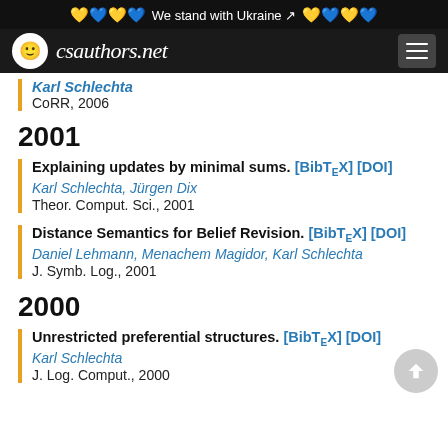We stand with Ukraine
csauthors.net
Karl Schlechta
CoRR, 2006
2001
Explaining updates by minimal sums. [BibTeX] [DOI]
Karl Schlechta, Jürgen Dix
Theor. Comput. Sci., 2001
Distance Semantics for Belief Revision. [BibTeX] [DOI]
Daniel Lehmann, Menachem Magidor, Karl Schlechta
J. Symb. Log., 2001
2000
Unrestricted preferential structures. [BibTeX] [DOI]
Karl Schlechta
J. Log. Comput., 2000